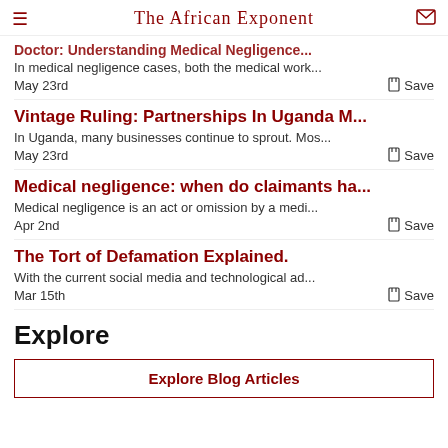The African Exponent
Doctor: Understanding Medical Negligence...
In medical negligence cases, both the medical work...
May 23rd  Save
Vintage Ruling: Partnerships In Uganda M...
In Uganda, many businesses continue to sprout. Mos...
May 23rd  Save
Medical negligence: when do claimants ha...
Medical negligence is an act or omission by a medi...
Apr 2nd  Save
The Tort of Defamation Explained.
With the current social media and technological ad...
Mar 15th  Save
Explore
Explore Blog Articles